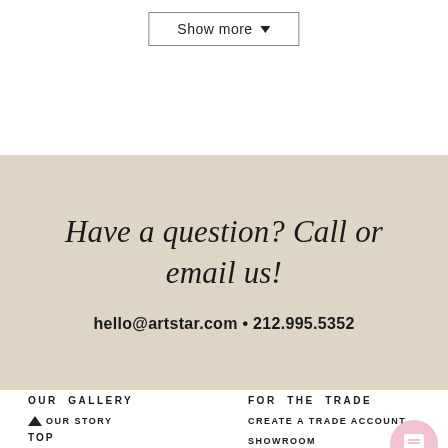Show more ▼
Have a question? Call or email us!
hello@artstar.com • 212.995.5352
OUR GALLERY
FOR THE TRADE
OUR STORY
CONTACT
CREATE A TRADE ACCOUNT
SHOWROOM